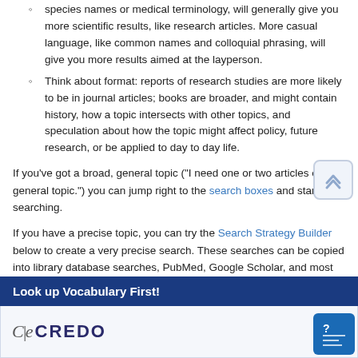species names or medical terminology, will generally give you more scientific results, like research articles. More casual language, like common names and colloquial phrasing, will give you more results aimed at the layperson.
Think about format: reports of research studies are more likely to be in journal articles; books are broader, and might contain history, how a topic intersects with other topics, and speculation about how the topic might affect policy, future research, or be applied to day to day life.
If you've got a broad, general topic ("I need one or two articles on this general topic.") you can jump right to the search boxes and start searching.
If you have a precise topic, you can try the Search Strategy Builder below to create a very precise search. These searches can be copied into library database searches, PubMed, Google Scholar, and most other search engines.
Look up Vocabulary First!
[Figure (logo): CREDO logo with stylized C and italic e symbol]